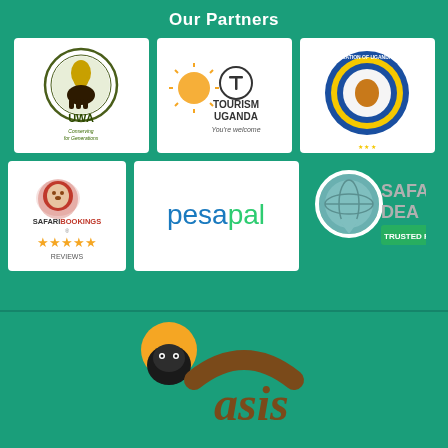Our Partners
[Figure (logo): UWA (Uganda Wildlife Authority) logo - circular emblem with lion and text 'Conserving for Generations']
[Figure (logo): Tourism Uganda logo with tagline 'You're welcome']
[Figure (logo): Association of Uganda Tour Operators circular badge logo]
[Figure (logo): SafariBookings logo with red lion and 5 gold star reviews]
[Figure (logo): Pesapal logo in blue and green text]
[Figure (logo): Safari Deals logo with globe map pin icon and 'TRUSTED P...' green badge (partially cropped)]
[Figure (logo): Oasis logo with gorilla and orange sun symbol (partially cropped at bottom)]